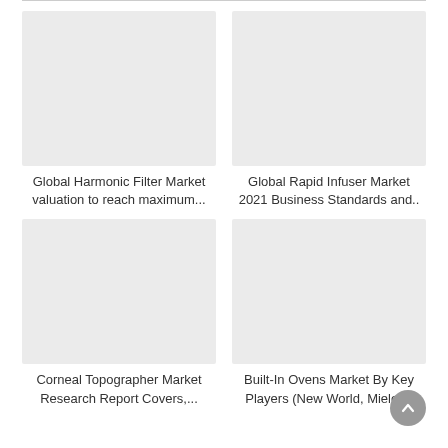[Figure (illustration): Grey placeholder image for Global Harmonic Filter Market article]
Global Harmonic Filter Market valuation to reach maximum...
[Figure (illustration): Grey placeholder image for Global Rapid Infuser Market article]
Global Rapid Infuser Market 2021 Business Standards and..
[Figure (illustration): Grey placeholder image for Corneal Topographer Market article]
Corneal Topographer Market Research Report Covers,...
[Figure (illustration): Grey placeholder image for Built-In Ovens Market article]
Built-In Ovens Market By Key Players (New World, Miele,...